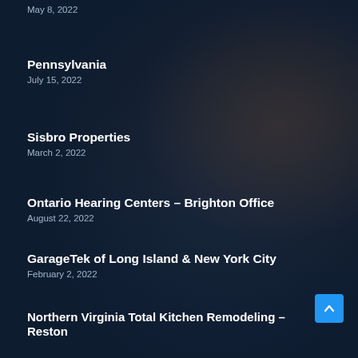May 8, 2022
Pennsylvania
July 15, 2022
Sisbro Properties
March 2, 2022
Ontario Hearing Centers – Brighton Office
August 22, 2022
GarageTek of Long Island & New York City
February 2, 2022
Northern Virginia Total Kitchen Remodeling – Reston